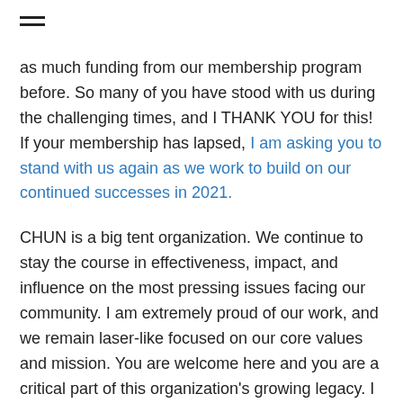≡
as much funding from our membership program before. So many of you have stood with us during the challenging times, and I THANK YOU for this! If your membership has lapsed, I am asking you to stand with us again as we work to build on our continued successes in 2021.
CHUN is a big tent organization. We continue to stay the course in effectiveness, impact, and influence on the most pressing issues facing our community. I am extremely proud of our work, and we remain laser-like focused on our core values and mission. You are welcome here and you are a critical part of this organization's growing legacy. I love closing the year on a high note, and we have done it again. Even better days await us; wishing you a happy and healthy 2021.